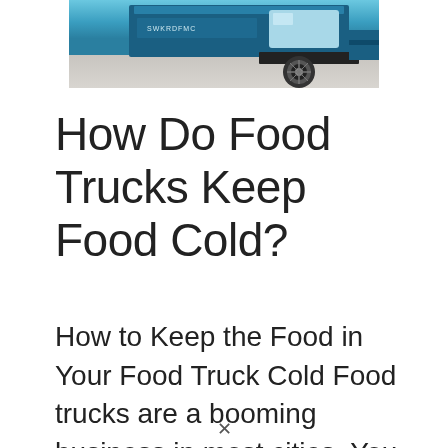[Figure (photo): Partial view of a blue food truck from above/front angle, showing the roof, windshield area, and front wheel on a light-colored surface]
How Do Food Trucks Keep Food Cold?
How to Keep the Food in Your Food Truck Cold Food trucks are a booming business in most cities. You can find